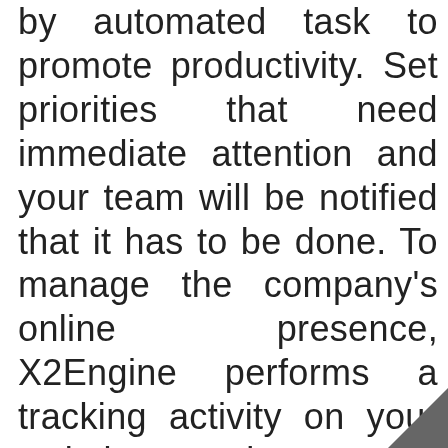by automated task to promote productivity. Set priorities that need immediate attention and your team will be notified that it has to be done. To manage the company's online presence, X2Engine performs a tracking activity on your website to make sure you understand what your visitors or potential leads are interested with.